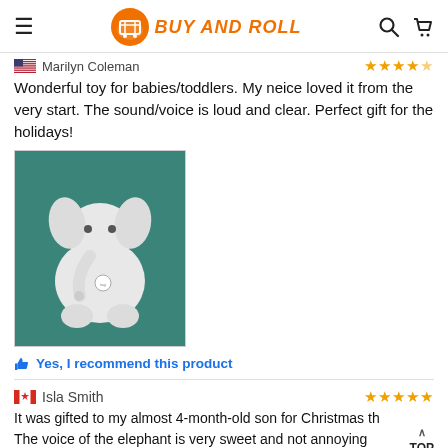BUY AND ROLL
Marilyn Coleman ★★★★★
Wonderful toy for babies/toddlers. My neice loved it from the very start. The sound/voice is loud and clear. Perfect gift for the holidays!
[Figure (photo): Photo of a white plush elephant stuffed toy sitting on a teal/green background]
👍 Yes, I recommend this product
Isla Smith ★★★★★
It was gifted to my almost 4-month-old son for Christmas th The voice of the elephant is very sweet and not annoying lik toys. It is a loud volume and piques the baby's interest. The ears